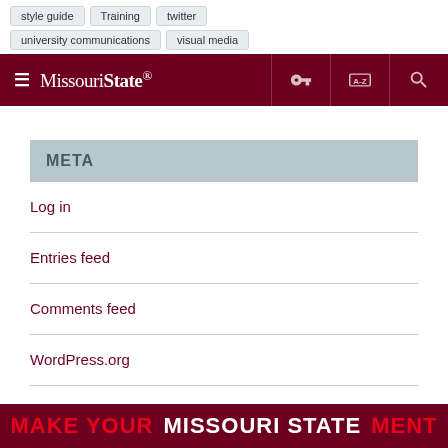style guide   Training   twitter   university communications   visual media
[Figure (screenshot): Missouri State University navigation bar with hamburger menu, logo, key icon, A-Z index icon, and search icon on dark maroon background]
META
Log in
Entries feed
Comments feed
WordPress.org
MAKE YOUR MISSOURI STATEMENT